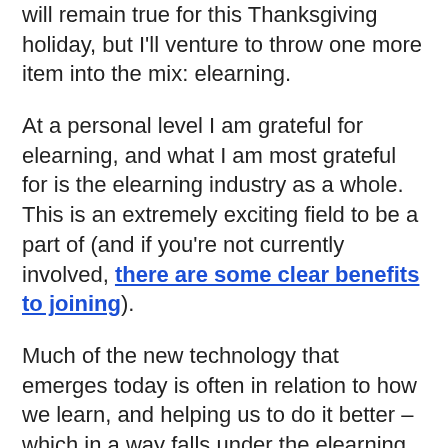will remain true for this Thanksgiving holiday, but I'll venture to throw one more item into the mix: elearning.
At a personal level I am grateful for elearning, and what I am most grateful for is the elearning industry as a whole. This is an extremely exciting field to be a part of (and if you're not currently involved, there are some clear benefits to joining).
Much of the new technology that emerges today is often in relation to how we learn, and helping us to do it better – which in a way falls under the elearning industry umbrella. We use elearning to assist children